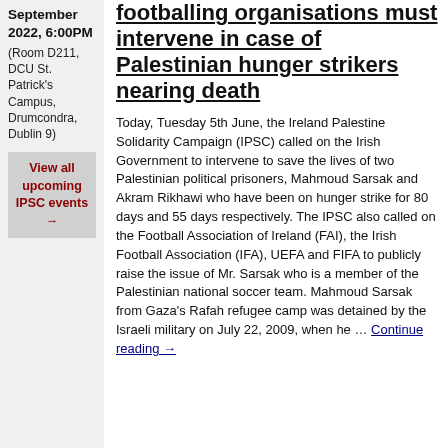September 2022, 6:00PM (Room D211, DCU St. Patrick's Campus, Drumcondra, Dublin 9)
View all upcoming IPSC events →
footballing organisations must intervene in case of Palestinian hunger strikers nearing death
Today, Tuesday 5th June, the Ireland Palestine Solidarity Campaign (IPSC) called on the Irish Government to intervene to save the lives of two Palestinian political prisoners, Mahmoud Sarsak and Akram Rikhawi who have been on hunger strike for 80 days and 55 days respectively. The IPSC also called on the Football Association of Ireland (FAI), the Irish Football Association (IFA), UEFA and FIFA to publicly raise the issue of Mr. Sarsak who is a member of the Palestinian national soccer team. Mahmoud Sarsak from Gaza's Rafah refugee camp was detained by the Israeli military on July 22, 2009, when he … Continue reading →